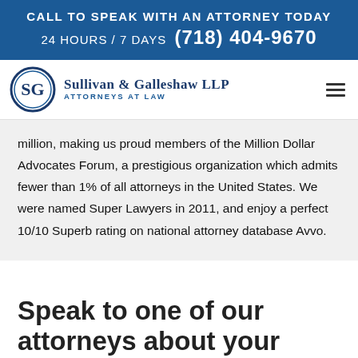CALL TO SPEAK WITH AN ATTORNEY TODAY 24 HOURS / 7 DAYS (718) 404-9670
[Figure (logo): Sullivan & Galleshaw LLP Attorneys at Law logo with SG monogram in circle]
million, making us proud members of the Million Dollar Advocates Forum, a prestigious organization which admits fewer than 1% of all attorneys in the United States. We were named Super Lawyers in 2011, and enjoy a perfect 10/10 Superb rating on national attorney database Avvo.
Speak to one of our attorneys about your case